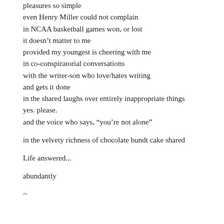pleasures so simple
even Henry Miller could not complain
in NCAA basketball games won, or lost
it doesn't matter to me
provided my youngest is cheering with me
in co-conspiratorial conversations
with the writer-son who love/hates writing
and gets it done
in the shared laughs over entirely inappropriate things
yes. please.
and the voice who says, “you’re not alone”

in the velvety richness of chocolate bundt cake shared

Life answered...

abundantly

~